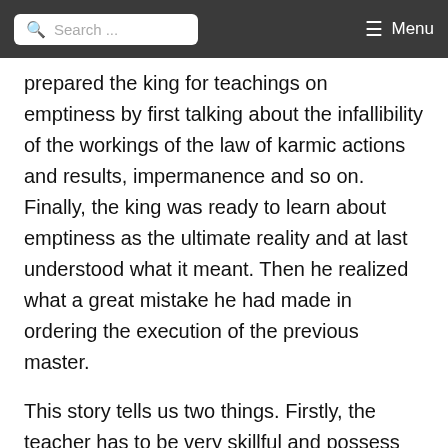Search ... Menu
prepared the king for teachings on emptiness by first talking about the infallibility of the workings of the law of karmic actions and results, impermanence and so on. Finally, the king was ready to learn about emptiness as the ultimate reality and at last understood what it meant. Then he realized what a great mistake he had made in ordering the execution of the previous master.
This story tells us two things. Firstly, the teacher has to be very skillful and possess profound insight in order to teach emptiness to others. He or she needs two qualities known as "skillful means" and "wisdom." Secondly, the student needs to be ready to receive this teaching. The view of emptiness is extremely